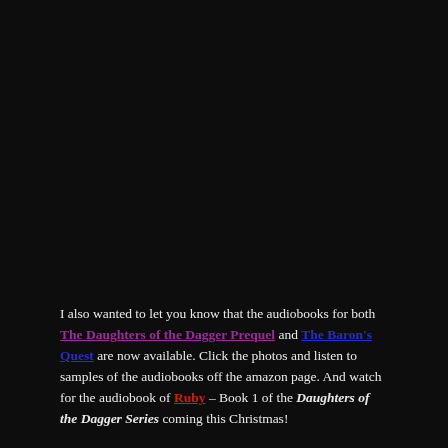I also wanted to let you know that the audiobooks for both The Daughters of the Dagger Prequel and The Baron's Quest are now available. Click the photos and listen to samples of the audiobooks off the amazon page. And watch for the audiobook of Ruby – Book 1 of the Daughters of the Dagger Series coming this Christmas!